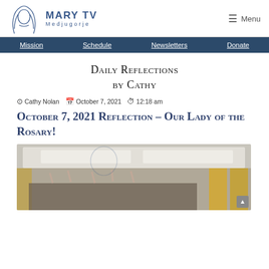[Figure (logo): Mary TV Medjugorje logo with stylized face illustration and text]
Menu
Mission  Schedule  Newsletters  Donate
Daily Reflections by Cathy
Cathy Nolan  October 7, 2021  12:18 am
October 7, 2021 Reflection – Our Lady of the Rosary!
[Figure (photo): Indoor gathering photo showing people with raised hands in a bright room with yellow curtains]